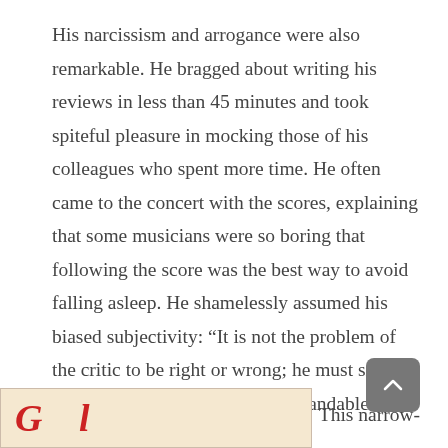His narcissism and arrogance were also remarkable. He bragged about writing his reviews in less than 45 minutes and took spiteful pleasure in mocking those of his colleagues who spent more time. He often came to the concert with the scores, explaining that some musicians were so boring that following the score was the best way to avoid falling asleep. He shamelessly assumed his biased subjectivity: “It is not the problem of the critic to be right or wrong; he must simply express his opinion in an understandable style.”
[Figure (illustration): Partial view of a book cover with red decorative script letters visible at the bottom left of the page]
This narrow-